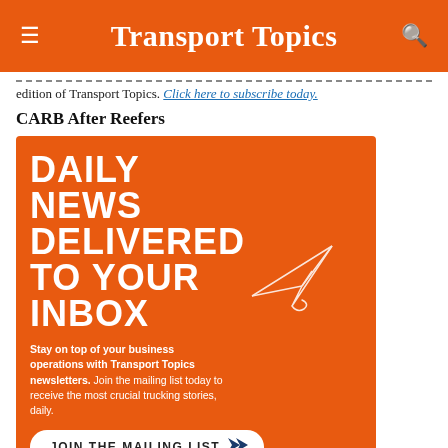Transport Topics
edition of Transport Topics. Click here to subscribe today.
CARB After Reefers
[Figure (infographic): Orange advertisement banner for Transport Topics newsletter. Large white text reads 'DAILY NEWS DELIVERED TO YOUR INBOX'. Subtext: 'Stay on top of your business operations with Transport Topics newsletters. Join the mailing list today to receive the most crucial trucking stories, daily.' White button: 'JOIN THE MAILING LIST' with arrow. Paper airplane illustration. Brand name 'Transport Topics' at bottom right.]
The Environmental Protection Agency has approved California's new limits on refrigerated trailers entering and operating inside the "Golden State," giving truck